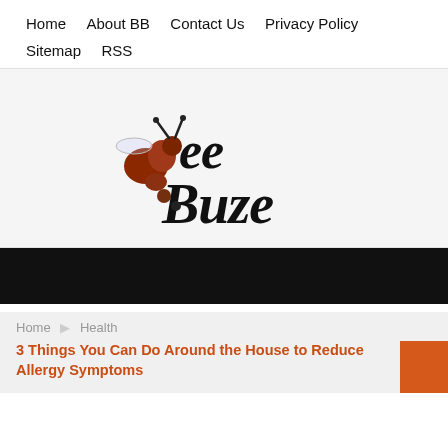Home   About BB   Contact Us   Privacy Policy   Sitemap   RSS
[Figure (logo): Bee Buze logo: illustrated bee with brown/red body and cursive black text reading 'Bee Buze']
[Figure (other): Black banner/advertisement bar]
Home   Health
3 Things You Can Do Around the House to Reduce Allergy Symptoms